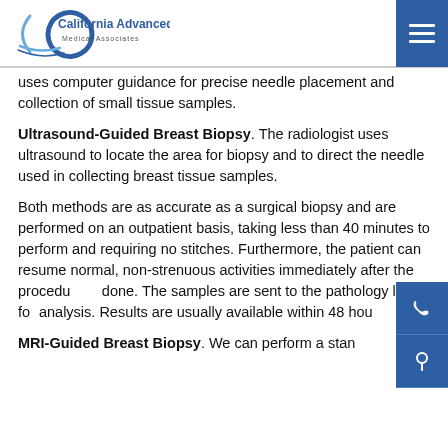California Advanced Imaging Medical Associates
uses computer guidance for precise needle placement and collection of small tissue samples.
Ultrasound-Guided Breast Biopsy. The radiologist uses ultrasound to locate the area for biopsy and to direct the needle used in collecting breast tissue samples.
Both methods are as accurate as a surgical biopsy and are performed on an outpatient basis, taking less than 40 minutes to perform and requiring no stitches. Furthermore, the patient can resume normal, non-strenuous activities immediately after the procedure is done. The samples are sent to the pathology lab for analysis. Results are usually available within 48 hou...
MRI-Guided Breast Biopsy. We can perform a stan...